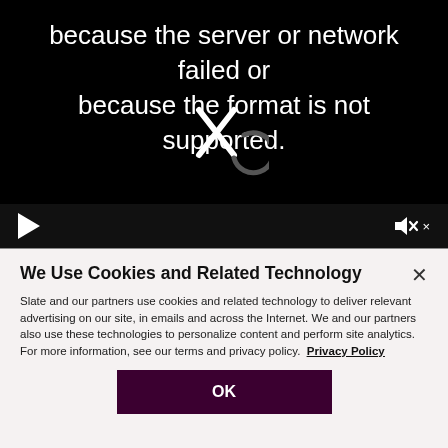[Figure (screenshot): Video player error screen with black background showing error message text in white, a broken media icon (X with loading spinner), and playback controls (play button and muted speaker icon) at the bottom.]
We Use Cookies and Related Technology
Slate and our partners use cookies and related technology to deliver relevant advertising on our site, in emails and across the Internet. We and our partners also use these technologies to personalize content and perform site analytics. For more information, see our terms and privacy policy. Privacy Policy
OK